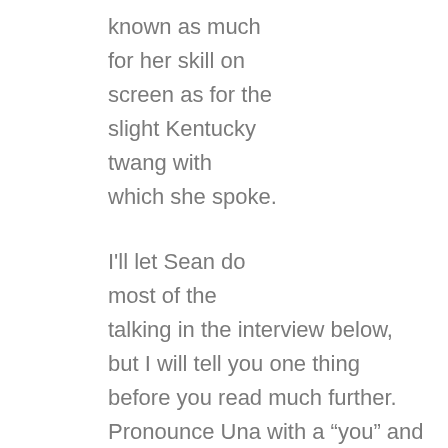known as much for her skill on screen as for the slight Kentucky twang with which she spoke.
I'll let Sean do most of the talking in the interview below, but I will tell you one thing before you read much further. Pronounce Una with a “you” and a “nuh” versus the impulse to treat the name like a derivation of the Spanish word for one. It’s an easy mistake to make (one the